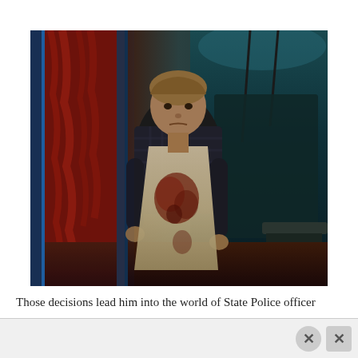[Figure (photo): A person wearing a blood-stained white apron and dark plaid shirt stands in a doorway of what appears to be a meat locker or cold storage room. Hanging meat carcasses with reddish color are visible behind them on the left. The room has teal/dark green lighting on the right side with a table or surface visible. The overall atmosphere is dark and dramatic.]
Those decisions lead him into the world of State Police officer